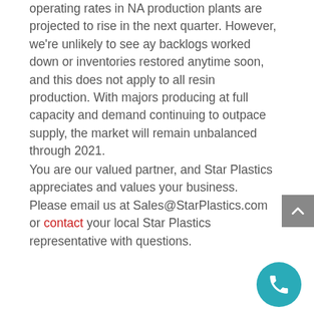operating rates in NA production plants are projected to rise in the next quarter. However, we're unlikely to see ay backlogs worked down or inventories restored anytime soon, and this does not apply to all resin production. With majors producing at full capacity and demand continuing to outpace supply, the market will remain unbalanced through 2021.
You are our valued partner, and Star Plastics appreciates and values your business. Please email us at Sales@StarPlastics.com or contact your local Star Plastics representative with questions.